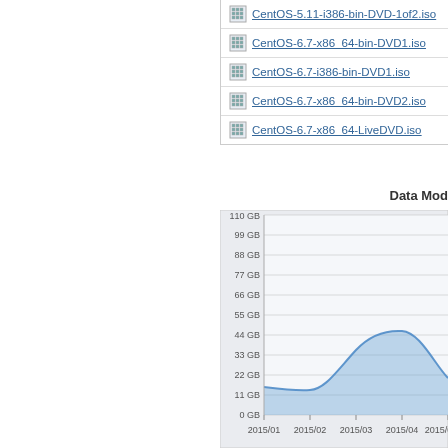CentOS-5.11-i386-bin-DVD-1of2.iso
CentOS-6.7-x86_64-bin-DVD1.iso
CentOS-6.7-i386-bin-DVD1.iso
CentOS-6.7-x86_64-bin-DVD2.iso
CentOS-6.7-x86_64-LiveDVD.iso
Data Mod
[Figure (area-chart): Area chart showing data over time from 2015/01 to 2015/05+. Y-axis from 0 GB to 110 GB in increments of 11 GB. Values start around 15 GB in 2015/01, dip slightly in 2015/02, rise sharply to a peak of approximately 46 GB around 2015/04, then decline to about 20 GB by 2015/05.]